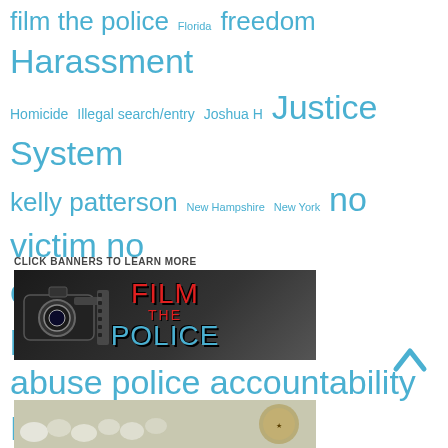[Figure (infographic): Tag cloud with words related to police accountability, civil rights, and filming police. Words in varying blue font sizes include: film the police, Florida, freedom, Harassment, Homicide, Illegal search/entry, Joshua H, Justice System, kelly patterson, New Hampshire, New York, no victim no crime, Ohio, Pete Eyre, Photography, police, police abuse, police accountability, Police brutality, Police State, rights, strike the root, Surveillance, Texas, Transparency, Update, video]
CLICK BANNERS TO LEARN MORE
[Figure (photo): Banner image for Film the Police showing a camera and bold red/blue text saying FILM THE POLICE]
[Figure (photo): Partial banner image at bottom showing sheep/crowd scene]